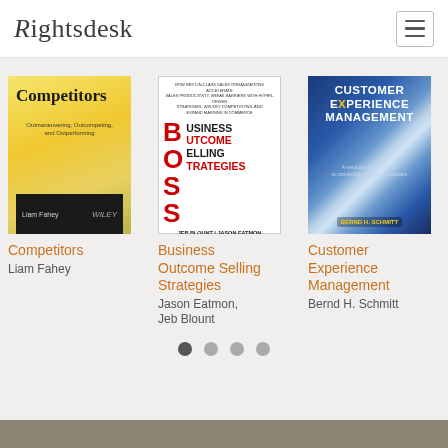[Figure (logo): Rightsdesk logo in serif italic/regular font]
[Figure (illustration): Hamburger menu icon (three horizontal lines) in a bordered box]
[Figure (photo): Book cover: Competitors by Liam Fahey, yellow and black Wiley cover]
Competitors
Liam Fahey
[Figure (photo): Book cover: Business Outcome Selling Strategies by Jeb Blount and Jason Eatmon, white cover with red BOSS letters, Wiley]
Business Outcome Selling Strategies
Jason Eatmon, Jeb Blount
[Figure (photo): Book cover: Customer Experience Management by Bernd H. Schmitt, blue cover with light starburst]
Customer Experience Management
Bernd H. Schmitt